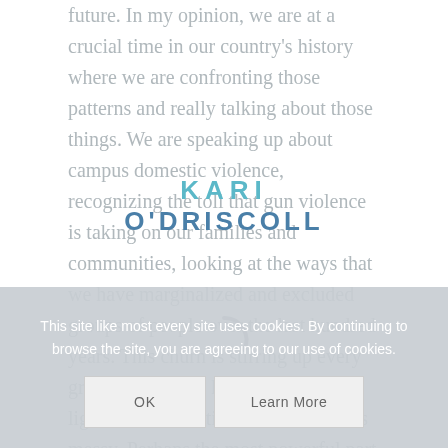future. In my opinion, we are at a crucial time in our country's history where we are confronting those patterns and really talking about those things. We are speaking up about campus domestic violence, recognizing the toll that gun violence is taking on our families and communities, looking at the ways that we have marginalized and excluded groups of people over the last hundred years. This churn is stirring up every grain of sand and holding it to the light for examination and the result is messy. Perhaps the most powerful part of Gloria's
[Figure (logo): Logo overlay: KARI O'DRISCOLL in teal/blue bold sans-serif letters centered on the page]
[Figure (infographic): Loading spinner arc, partially visible, gray/teal color]
This site like most every site uses cookies. By continuing to browse the site, you are agreeing to our use of cookies.
OK
Learn More